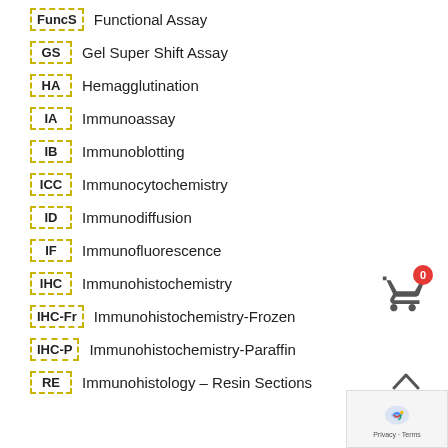FuncS  Functional Assay
GS  Gel Super Shift Assay
HA  Hemagglutination
IA  Immunoassay
IB  Immunoblotting
ICC  Immunocytochemistry
ID  Immunodiffusion
IF  Immunofluorescence
IHC  Immunohistochemistry
IHC-Fr  Immunohistochemistry-Frozen
IHC-P  Immunohistochemistry-Paraffin
RE  Immunohistology - Resin Sections
[Figure (other): Shopping cart icon with red badge showing 0]
[Figure (other): Scroll up chevron arrow icon]
[Figure (other): reCAPTCHA widget with Privacy and Terms text]